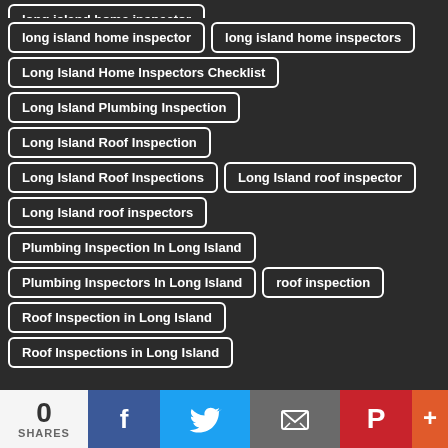long island home inspector
long island home inspectors
Long Island Home Inspectors Checklist
Long Island Plumbing Inspection
Long Island Roof Inspection
Long Island Roof Inspections
Long Island roof inspector
Long Island roof inspectors
Plumbing Inspection In Long Island
Plumbing Inspectors In Long Island
roof inspection
Roof Inspection in Long Island
Roof Inspections in Long Island
0 SHARES | Facebook | Twitter | Email | Pinterest | More